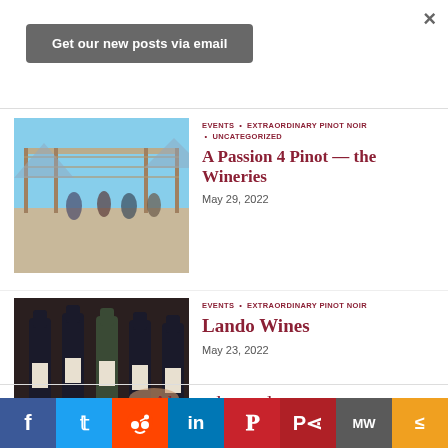×
Get our new posts via email
EVENTS · EXTRAORDINARY PINOT NOIR · UNCATEGORIZED
[Figure (photo): Outdoor winery event with people gathered under pergola, blue sky and mountains in background]
A Passion 4 Pinot — the Wineries
May 29, 2022
EVENTS · EXTRAORDINARY PINOT NOIR
[Figure (photo): Wine bottles (dark glass) lined up on table with hands visible in background]
Lando Wines
May 23, 2022
About the author